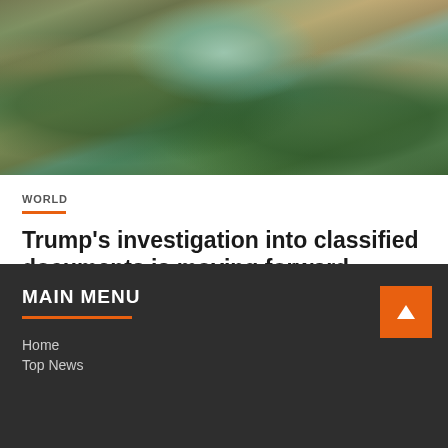[Figure (photo): Aerial view of Mar-a-Lago estate in Florida showing the main building, pool, palm trees, and surrounding grounds from above]
WORLD
Trump’s investigation into classified documents is moving forward
August 19, 2022   Tony Walters
MAIN MENU
Home
Top News